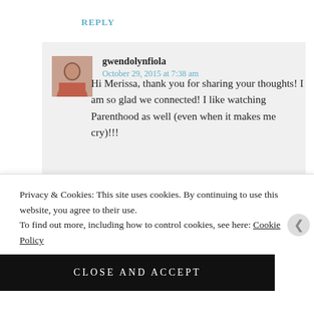REPLY
gwendolynfiola
October 29, 2015 at 7:38 am
Hi Merissa, thank you for sharing your thoughts! I am so glad we connected! I like watching Parenthood as well (even when it makes me cry)!!!
Privacy & Cookies: This site uses cookies. By continuing to use this website, you agree to their use.
To find out more, including how to control cookies, see here: Cookie Policy
CLOSE AND ACCEPT